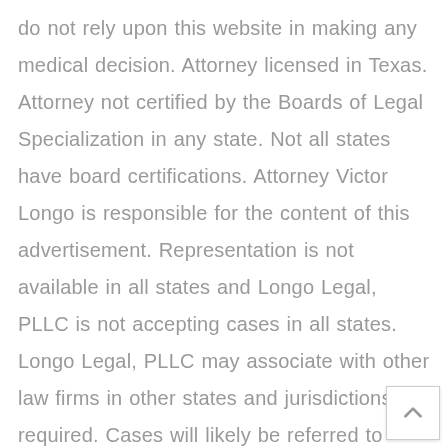do not rely upon this website in making any medical decision. Attorney licensed in Texas. Attorney not certified by the Boards of Legal Specialization in any state. Not all states have board certifications. Attorney Victor Longo is responsible for the content of this advertisement. Representation is not available in all states and Longo Legal, PLLC is not accepting cases in all states. Longo Legal, PLLC may associate with other law firms in other states and jurisdictions as required. Cases will likely be referred to other lawyers for handling.